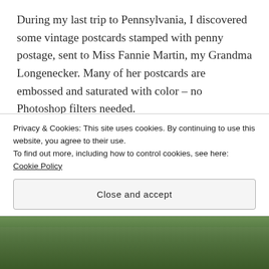During my last trip to Pennsylvania, I discovered some vintage postcards stamped with penny postage, sent to Miss Fannie Martin, my Grandma Longenecker. Many of her postcards are embossed and saturated with color – no Photoshop filters needed.
In an era long before smartphones and text messages, postcards were valued. Instead of instant messages easily deleted and forgotten, these cards have become artifacts of my family history. The one below, over one hundred years old is
Privacy & Cookies: This site uses cookies. By continuing to use this website, you agree to their use.
To find out more, including how to control cookies, see here: Cookie Policy
Close and accept
[Figure (photo): Bottom strip showing a partial outdoor photo with green foliage, partially obscured by the cookie consent banner]